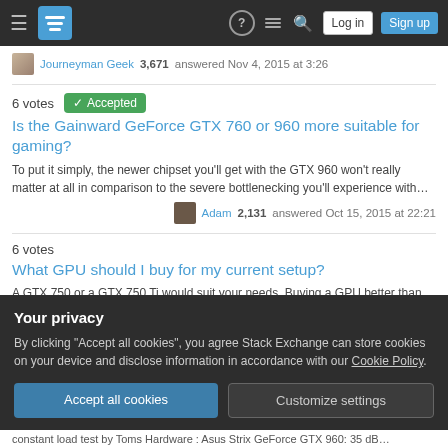Tom's Hardware / Stack Exchange site navigation with Log in and Sign up buttons
Journeyman Geek 3,671 answered Nov 4, 2015 at 3:26
6 votes  Accepted
Is the Gainward GeForce GTX 760 or 960 more suitable for gaming?
To put it simply, the newer chipset you'll get with the GTX 960 won't really matter at all in comparison to the severe bottlenecking you'll experience with…
Adam 2,131 answered Oct 15, 2015 at 22:21
6 votes
What GPU should I buy for my current setup?
A GTX 750 or a GTX 750 Ti would suit your needs. Buying a GPU better than
Your privacy
By clicking "Accept all cookies", you agree Stack Exchange can store cookies on your device and disclose information in accordance with our Cookie Policy.
Accept all cookies
Customize settings
constant load test by Toms Hardware : Asus Strix GeForce GTX 960: 35 dB…